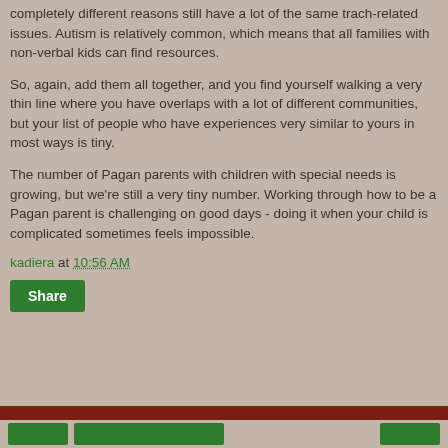completely different reasons still have a lot of the same trach-related issues. Autism is relatively common, which means that all families with non-verbal kids can find resources.
So, again, add them all together, and you find yourself walking a very thin line where you have overlaps with a lot of different communities, but your list of people who have experiences very similar to yours in most ways is tiny.
The number of Pagan parents with children with special needs is growing, but we're still a very tiny number. Working through how to be a Pagan parent is challenging on good days - doing it when your child is complicated sometimes feels impossible.
kadiera at 10:56 AM
Share